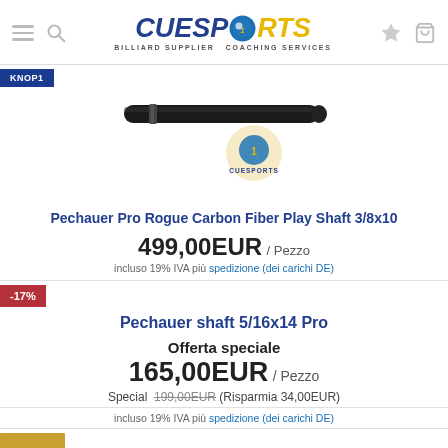CueSports — Billiard Supplier Coaching Services
[Figure (photo): Product photo of Pechauer Pro Rogue Carbon Fiber Play Shaft 3/8x10, a dark carbon fiber billiard cue shaft, with CueSports logo watermark overlay]
Pechauer Pro Rogue Carbon Fiber Play Shaft 3/8x10
499,00EUR / Pezzo
incluso 19% IVA più spedizione (dei carichi DE)
-17%
Pechauer shaft 5/16x14 Pro
Offerta speciale
165,00EUR / Pezzo
Special 199,00EUR (Risparmia 34,00EUR)
incluso 19% IVA più spedizione (dei carichi DE)